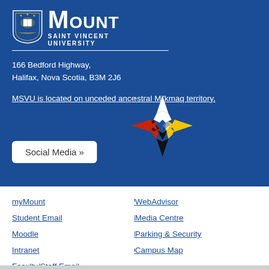[Figure (logo): Mount Saint Vincent University shield logo with crest]
MOUNT SAINT VINCENT UNIVERSITY
166 Bedford Highway,
Halifax, Nova Scotia, B3M 2J6
MSVU is located on unceded ancestral Mi'kmaq territory.
[Figure (illustration): Mi'kmaq star symbol with white, red, yellow, and black points]
Social Media »
myMount
Student Email
Moodle
Intranet
Faculty/Staff Email
WebAdvisor
Media Centre
Parking & Security
Campus Map